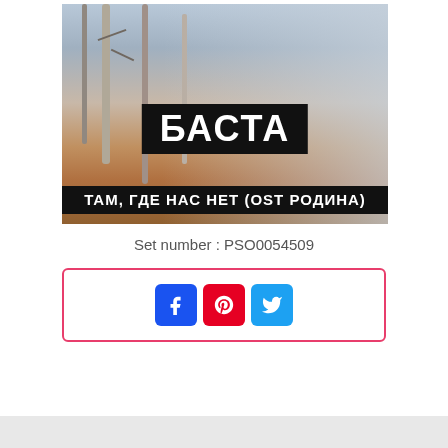[Figure (photo): Album art for Basta - Tam Gde Nas Net (OST Rodina). Winter landscape with bare birch trees, misty field background in grey-blue and orange-brown tones. Black banner overlay with Cyrillic text: БАСТА and ТАМ, ГДЕ НАС НЕТ (OST РОДИНА)]
Set number : PSO0054509
[Figure (infographic): Social sharing buttons: Facebook (blue), Pinterest (red), Twitter (light blue) inside a pink/red rounded border box]